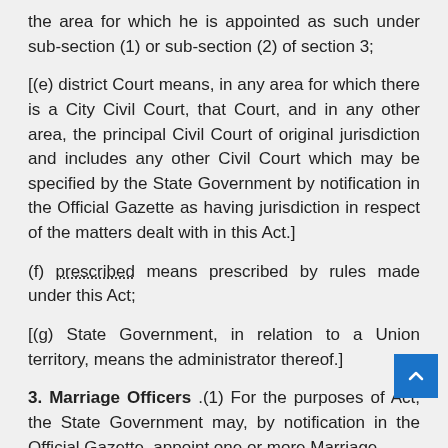the area for which he is appointed as such under sub-section (1) or sub-section (2) of section 3;
[(e) district Court means, in any area for which there is a City Civil Court, that Court, and in any other area, the principal Civil Court of original jurisdiction and includes any other Civil Court which may be specified by the State Government by notification in the Official Gazette as having jurisdiction in respect of the matters dealt with in this Act.]
(f) prescribed means prescribed by rules made under this Act;
[(g) State Government, in relation to a Union territory, means the administrator thereof.]
3. Marriage Officers .(1) For the purposes of Act, the State Government may, by notification in the Official Gazette, appoint one or more Marriage